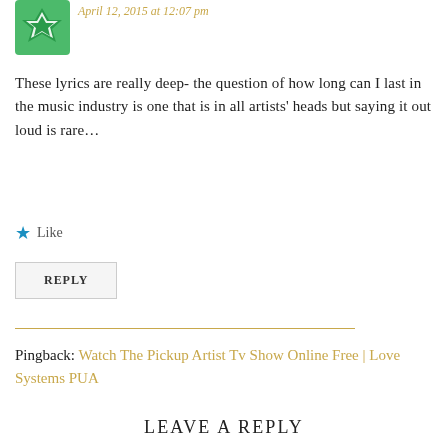[Figure (illustration): Green avatar icon with diamond/flower pattern on dark green background]
April 12, 2015 at 12:07 pm
These lyrics are really deep- the question of how long can I last in the music industry is one that is in all artists' heads but saying it out loud is rare...
★ Like
REPLY
Pingback: Watch The Pickup Artist Tv Show Online Free | Love Systems PUA
LEAVE A REPLY